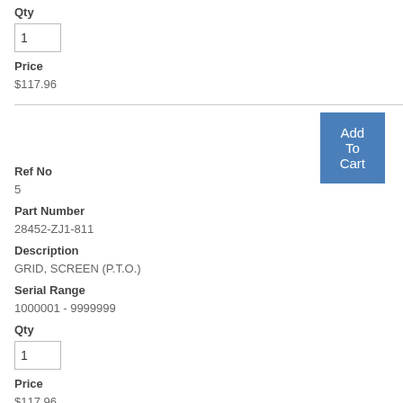Qty
1
Price
$117.96
Add To Cart
Ref No
5
Part Number
28452-ZJ1-811
Description
GRID, SCREEN (P.T.O.)
Serial Range
1000001 - 9999999
Qty
1
Price
$117.96
Add To Cart